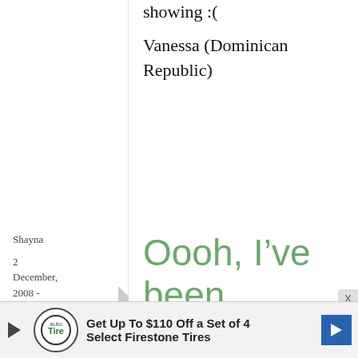showing :(
Vanessa (Dominican Republic)
Shayna
2 December, 2008 - 15:42
permalink
Oooh, I’ve been meaning to
Oooh, I've been meaning to buy this book anyway. I'll take a shot at it
Get Up To $110 Off a Set of 4 Select Firestone Tires